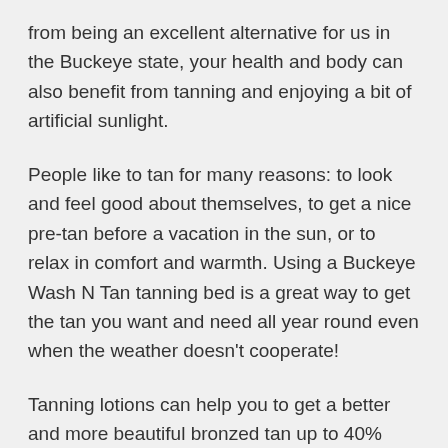from being an excellent alternative for us in the Buckeye state, your health and body can also benefit from tanning and enjoying a bit of artificial sunlight.
People like to tan for many reasons: to look and feel good about themselves, to get a nice pre-tan before a vacation in the sun, or to relax in comfort and warmth. Using a Buckeye Wash N Tan tanning bed is a great way to get the tan you want and need all year round even when the weather doesn't cooperate!
Tanning lotions can help you to get a better and more beautiful bronzed tan up to 40% faster. A good tanning lotion can make all the difference for your tan! We offer Australian